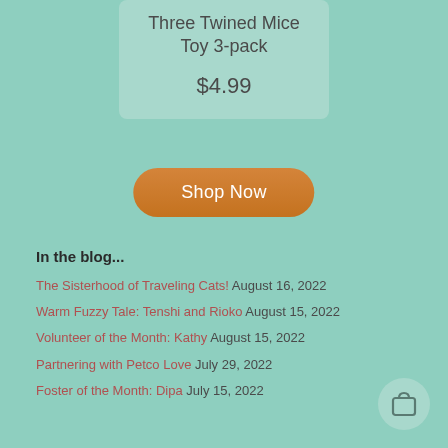Three Twined Mice Toy 3-pack
$4.99
Shop Now
In the blog...
The Sisterhood of Traveling Cats! August 16, 2022
Warm Fuzzy Tale: Tenshi and Rioko August 15, 2022
Volunteer of the Month: Kathy August 15, 2022
Partnering with Petco Love July 29, 2022
Foster of the Month: Dipa July 15, 2022
[Figure (illustration): Shopping cart icon in a circular light teal button]